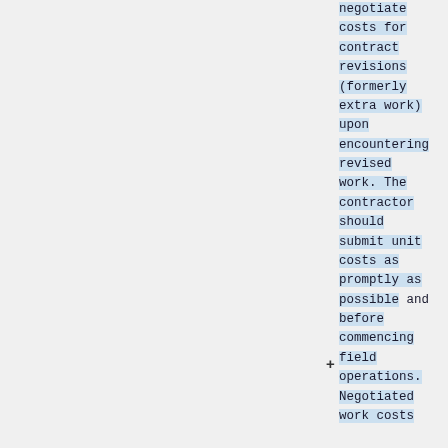negotiate costs for contract revisions (formerly extra work) upon encountering revised work. The contractor should submit unit costs as promptly as possible and before commencing field operations. Negotiated work costs